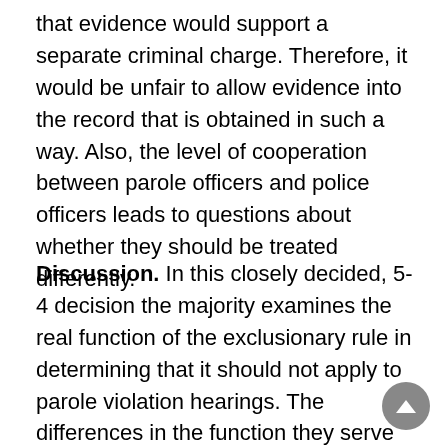that evidence would support a separate criminal charge. Therefore, it would be unfair to allow evidence into the record that is obtained in such a way. Also, the level of cooperation between parole officers and police officers leads to questions about whether they should be treated differently.
Discussion. In this closely decided, 5-4 decision the majority examines the real function of the exclusionary rule in determining that it should not apply to parole violation hearings. The differences in the function they serve between a criminal trial and a parole violation hearing are what J. Thomas emphasizes most in his majority opinion.